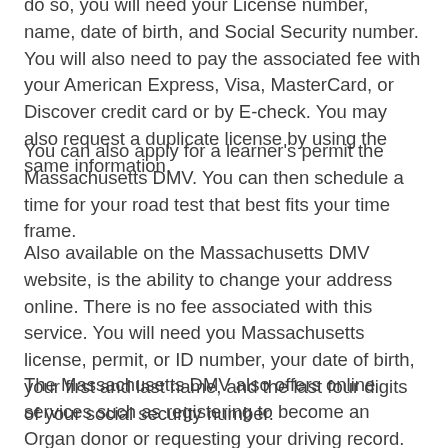do so, you will need your License number, name, date of birth, and Social Security number. You will also need to pay the associated fee with your American Express, Visa, MasterCard, or Discover credit card or by E-check. You may also request a duplicate license by using the same information.
You can also apply for a learner's permit the Massachusetts DMV. You can then schedule a time for your road test that best fits your time frame.
Also available on the Massachusetts DMV website, is the ability to change your address online. There is no fee associated with this service. You will need you Massachusetts license, permit, or ID number, your date of birth, your first and last name, and the last four digits of your social security number.
The Massachusetts DMV also offers online services such as registering to become an Organ donor or requesting your driving record. You may also pay citation (tickets) or court filing fees. They also have the ability to request a crash report or sign up for a Massachusetts EZ-Pass. The Massachusetts DMV website